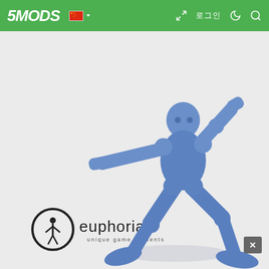5MODS
[Figure (illustration): A blue 3D rendered humanoid ragdoll figure in a dynamic action pose — one arm extended forward, one arm raised behind the head, legs bent and spread wide as if falling or stumbling. The figure is a smooth blue color with no detailed facial features. In the lower left of the image is the Euphoria logo: a circle with a stylized person figure inside, and the word 'euphoria' in lowercase with the tagline 'unique game moments' beneath it. A small grey 'X' button appears in the lower right corner of the image.]